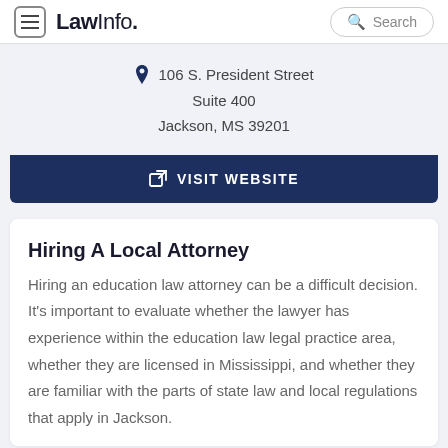LawInfo. Search
106 S. President Street
Suite 400
Jackson, MS 39201
VISIT WEBSITE
Hiring A Local Attorney
Hiring an education law attorney can be a difficult decision. It's important to evaluate whether the lawyer has experience within the education law legal practice area, whether they are licensed in Mississippi, and whether they are familiar with the parts of state law and local regulations that apply in Jackson.